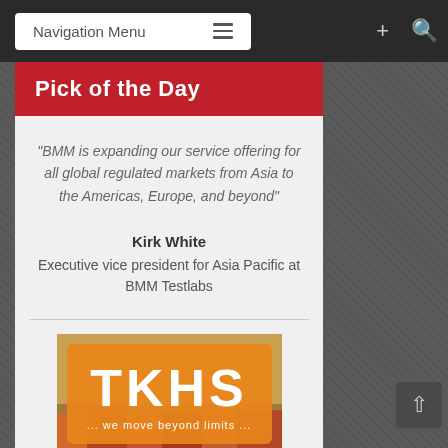Navigation Menu
Pick of the Day
"BMM is expanding our service offering for all global regulated markets from Asia to the Americas, Europe, and beyond"
Kirk White
Executive vice president for Asia Pacific at BMM Testlabs
[Figure (logo): TKHS logo with orange background and text 'TKHS ... we move beyond limits...' over a market/bazaar scene]